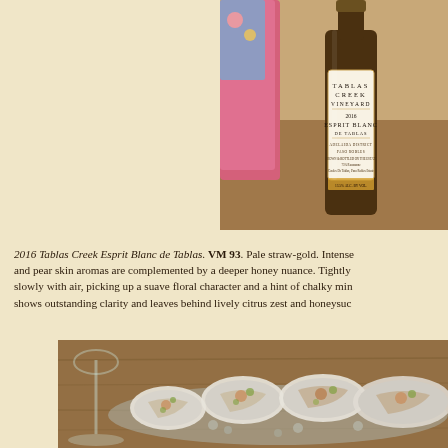[Figure (photo): Photo of a Tablas Creek Vineyard 2016 Esprit Blanc de Tablas wine bottle on a wooden surface with pink/colorful items in the background]
2016 Tablas Creek Esprit Blanc de Tablas. VM 93. Pale straw-gold. Intense and pear skin aromas are complemented by a deeper honey nuance. Tightly slowly with air, picking up a suave floral character and a hint of chalky mi shows outstanding clarity and leaves behind lively citrus zest and honeysu
[Figure (photo): Photo of oysters on the half shell on a wooden surface with a wine glass visible on the left]